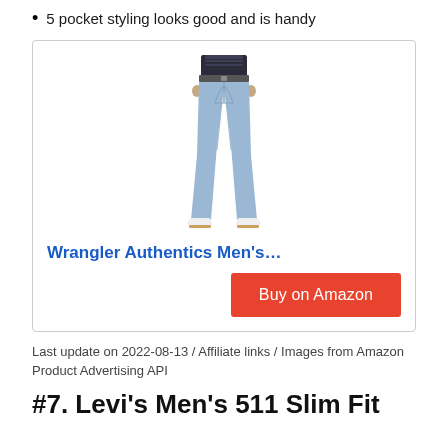5 pocket styling looks good and is handy
[Figure (photo): Product photo of Wrangler Authentics men's jeans — light blue wash, straight fit, shown on a model from waist to feet with white sneakers]
Wrangler Authentics Men's…
Buy on Amazon
Last update on 2022-08-13 / Affiliate links / Images from Amazon Product Advertising API
#7. Levi's Men's 511 Slim Fit